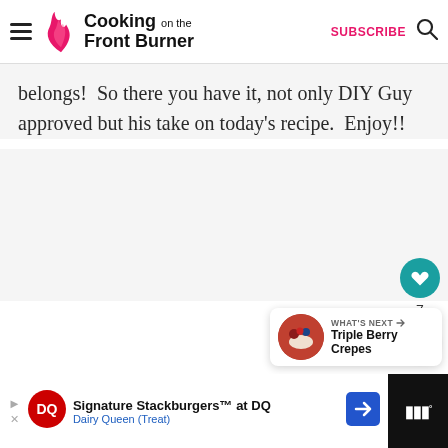Cooking on the Front Burner | SUBSCRIBE
belongs!  So there you have it, not only DIY Guy approved but his take on today's recipe.  Enjoy!!
[Figure (screenshot): Social sidebar with heart/like button showing 7 likes and a share button]
[Figure (screenshot): What's Next panel showing Triple Berry Crepes]
[Figure (screenshot): Advertisement bar: Signature Stackburgers at DQ, Dairy Queen (Treat)]